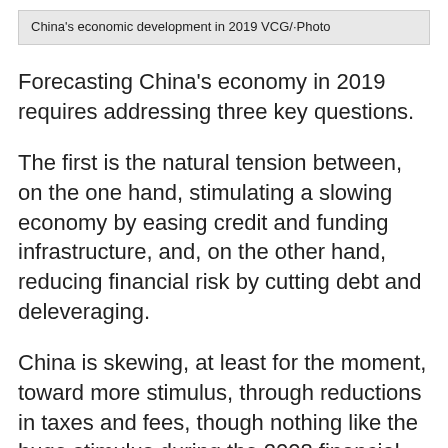China's economic development in 2019 VCG/·Photo
Forecasting China's economy in 2019 requires addressing three key questions.
The first is the natural tension between, on the one hand, stimulating a slowing economy by easing credit and funding infrastructure, and, on the other hand, reducing financial risk by cutting debt and deleveraging.
China is skewing, at least for the moment, toward more stimulus, through reductions in taxes and fees, though nothing like the huge stimulus during the 2008 financial crisis.
The second question is external pressures and uncertainties, such as trade frictions with